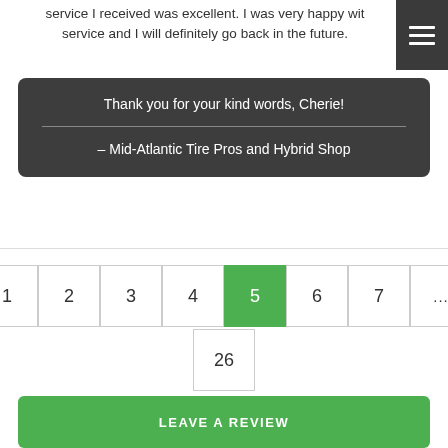service I received was excellent. I was very happy with the service and I will definitely go back in the future.
Thank you for your kind words, Cherie!
– Mid-Atlantic Tire Pros and Hybrid Shop
1
2
3
4
5
6
7
...
26
LEAVE A REVIEW